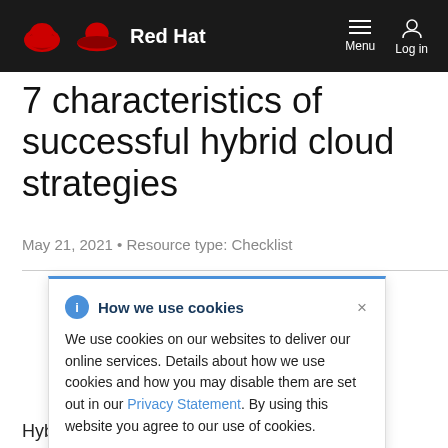Red Hat | Menu | Log in
7 characteristics of successful hybrid cloud strategies
May 21, 2021 • Resource type: Checklist
How we use cookies
We use cookies on our websites to deliver our online services. Details about how we use cookies and how you may disable them are set out in our Privacy Statement. By using this website you agree to our use of cookies.
Hybrid cloud is the infrastructure of choice for